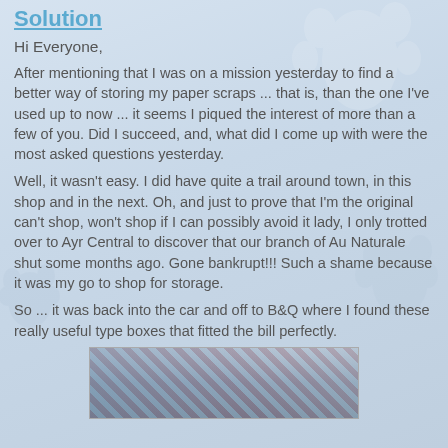Solution
Hi Everyone,
After mentioning that I was on a mission yesterday to find a better way of storing my paper scraps ... that is, than the one I've used up to now ... it seems I piqued the interest of more than a few of you. Did I succeed, and, what did I come up with were the most asked questions yesterday.
Well, it wasn't easy. I did have quite a trail around town, in this shop and in the next. Oh, and just to prove that I'm the original can't shop, won't shop if I can possibly avoid it lady, I only trotted over to Ayr Central to discover that our branch of Au Naturale shut some months ago. Gone bankrupt!!! Such a shame because it was my go to shop for storage.
So ... it was back into the car and off to B&Q where I found these really useful type boxes that fitted the bill perfectly.
[Figure (photo): Photo showing boxes or craft supplies on a table, partially visible at bottom of page]